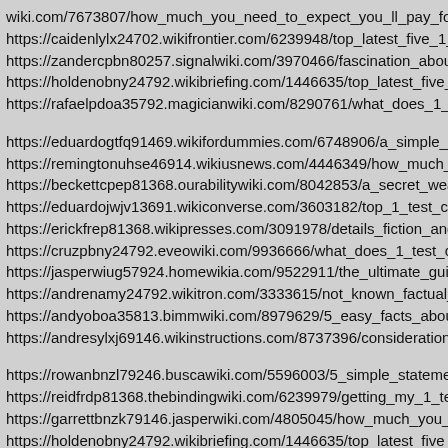wiki.com/7673807/how_much_you_need_to_expect_you_ll_pay_fo
https://caidenlylx24702.wikifrontier.com/6239948/top_latest_five_1_
https://zandercpbn80257.signalwiki.com/3970466/fascination_about
https://holdenobny24792.wikibriefing.com/1446635/top_latest_five_
https://rafaelpdoa35792.magicianwiki.com/8290761/what_does_1_te
https://eduardogtfq91469.wikifordummies.com/6748906/a_simple_k
https://remingtonuhse46914.wikiusnews.com/4446349/how_much_y
https://beckettcpep81368.ourabilitywiki.com/8042853/a_secret_wea
https://eduardojwjv13691.wikiconverse.com/3603182/top_1_test_cy
https://erickfrep81368.wikipresses.com/3091978/details_fiction_and
https://cruzpbny24792.eveowiki.com/9936666/what_does_1_test_cy
https://jasperwiug57924.homewikia.com/9522911/the_ultimate_guid
https://andrenamy24792.wikitron.com/3333615/not_known_factual_
https://andyoboa35813.bimmwiki.com/8979629/5_easy_facts_about
https://andresylxj69146.wikinstructions.com/8737396/considerations
https://rowanbnzl79246.buscawiki.com/5596003/5_simple_statemen
https://reidfrdp81368.thebindingwiki.com/6239979/getting_my_1_tes
https://garrettbnzk79146.jasperwiki.com/4805045/how_much_you_n
https://holdenobny24792.wikibriefing.com/1446635/top_latest_five_
https://fernandojxkw14792.wikimillions.com/2023838/a_review_of_1
https://troyjvhu03580.wikitidings.com/4469827/getting_my_1_test_c
https://andresylxj69146.wikinstructions.com/8737396/considerations
https://louisobny24792.wikipublicist.com/3336961/5_tips_about_1_te
https://holdennzmz25702.wikiparticularization.com/4108128/the_sm
https://lorenzxylwj69146.wikiinside.com/3477655/5_easy_facts_ab